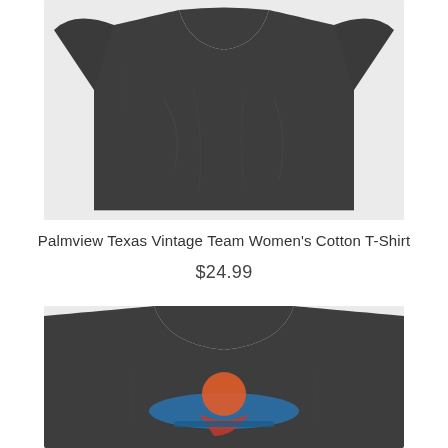[Figure (photo): Dark charcoal gray women's cotton t-shirt laid flat, showing the front body of the shirt with short sleeves and wrinkled fabric, on a light gray background.]
Palmview Texas Vintage Team Women's Cotton T-Shirt
$24.99
[Figure (photo): Dark charcoal gray women's cotton t-shirt, upper portion visible showing the crew neck and chest area with a colorful graphic design in blue, orange, and red tones, on a light gray background.]